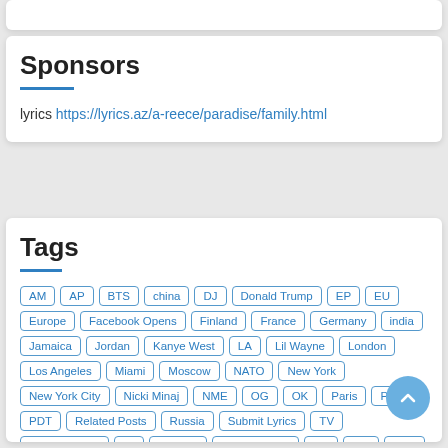Sponsors
lyrics https://lyrics.az/a-reece/paradise/family.html
Tags
AM
AP
BTS
china
DJ
Donald Trump
EP
EU
Europe
Facebook Opens
Finland
France
Germany
india
Jamaica
Jordan
Kanye West
LA
Lil Wayne
London
Los Angeles
Miami
Moscow
NATO
New York
New York City
Nicki Minaj
NME
OG
OK
Paris
PC
PDT
Related Posts
Russia
Submit Lyrics
TV
Twitter Opens
uk
Ukraine
United States
US
VIP
VVS
Vybz Kartel